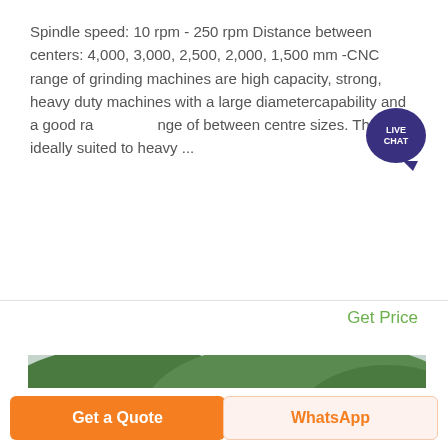Spindle speed: 10 rpm - 250 rpm Distance between centers: 4,000, 3,000, 2,500, 2,000, 1,500 mm -CNC range of grinding machines are high capacity, strong, heavy duty machines with a large diametercapability and a good range of between centre sizes. They are ideally suited to heavy ...
[Figure (photo): Aerial/elevated view of an industrial quarry or crushing plant with conveyor belts, machinery, stockpiles of aggregate/rock, a red flag, and green forested hills and a river in the background.]